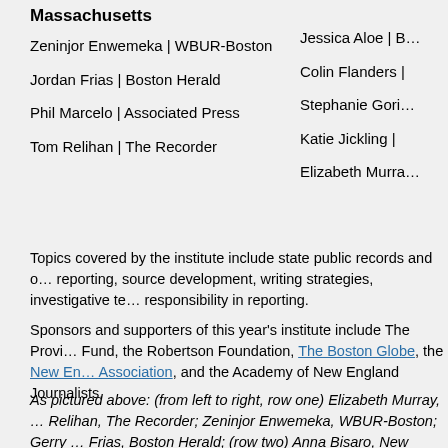Massachusetts
Zeninjor Enwemeka | WBUR-Boston
Jordan Frias | Boston Herald
Phil Marcelo | Associated Press
Tom Relihan | The Recorder
Jessica Aloe | B…
Colin Flanders |…
Stephanie Gorin…
Katie Jickling |…
Elizabeth Murra…
Topics covered by the institute include state public records and o… reporting, source development, writing strategies, investigative te… responsibility in reporting.
Sponsors and supporters of this year's institute include The Provi… Fund, the Robertson Foundation, The Boston Globe, the New En… Association, and the Academy of New England Journalists.
As pictured above: (from left to right, row one) Elizabeth Murray, … Relihan, The Recorder; Zeninjor Enwemeka, WBUR-Boston; Gerry … Frias, Boston Herald; (row two) Anna Bisaro, New Haven Register… Matthew Daigle, Sun Journal; Mikaela Porter, Hartford Courant; J…